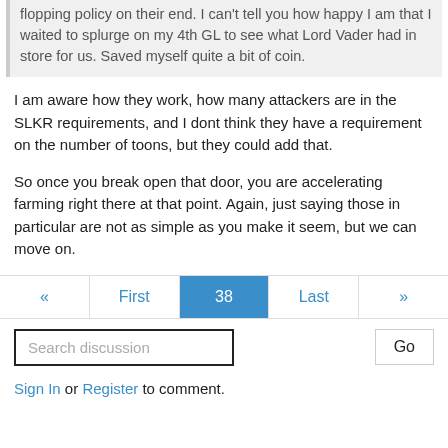flopping policy on their end. I can't tell you how happy I am that I waited to splurge on my 4th GL to see what Lord Vader had in store for us. Saved myself quite a bit of coin.
I am aware how they work, how many attackers are in the SLKR requirements, and I dont think they have a requirement on the number of toons, but they could add that.

So once you break open that door, you are accelerating farming right there at that point. Again, just saying those in particular are not as simple as you make it seem, but we can move on.
« First 38 Last »
Search discussion
Go
Sign In or Register to comment.